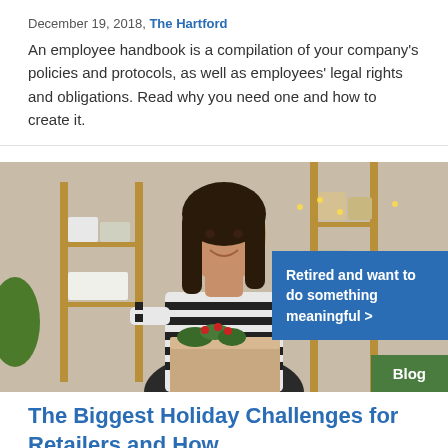December 19, 2018, The Hartford
An employee handbook is a compilation of your company's policies and protocols, as well as employees' legal rights and obligations. Read why you need one and how to create it.
[Figure (photo): A smiling woman in a striped sweater holding a decorated gift box in a retail/workshop setting with shelves in the background.]
Retired and want to do something meaningful >
Blog
The Biggest Holiday Challenges for Retailers and How